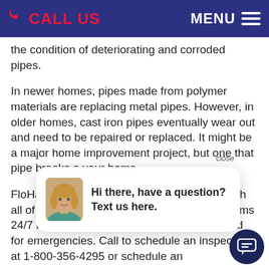CALL US   MENU
the condition of deteriorating and corroded pipes.
In newer homes, pipes made from polymer materials are replacing metal pipes. However, in older homes, cast iron pipes eventually wear out and need to be repaired or replaced. It might be a major home improvement project, but one that pipe breaks and your home.
FloHawks technicians are on hand to help with all of your plumbing and septic system problems 24/7 including nights, weekends, holidays and for emergencies. Call to schedule an inspection at 1-800-356-4295 or schedule an